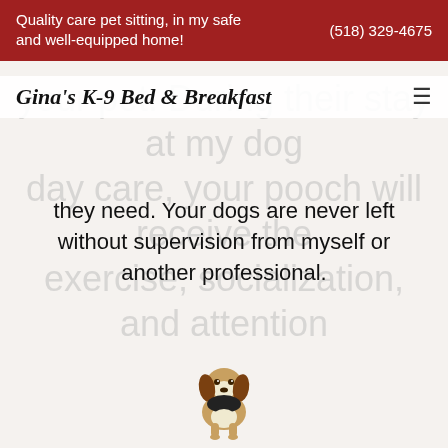Quality care pet sitting, in my safe and well-equipped home!  (518) 329-4675
Gina's K-9 Bed & Breakfast
your pet. During their stay at my dog day care, your pooch will receive the exercise, socialization, and attention they need. Your dogs are never left without supervision from myself or another professional.
[Figure (photo): A small beagle puppy sitting, photographed from the front against a white background.]
Dog Play Dates
While dog play dates are beneficial for dogs of all ages, they are essential for puppies. During these play dates,